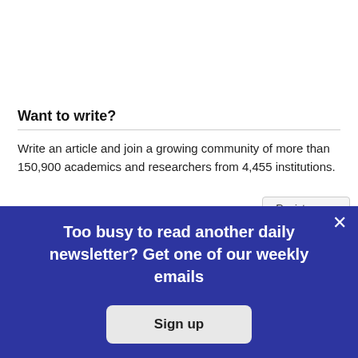Want to write?
Write an article and join a growing community of more than 150,900 academics and researchers from 4,455 institutions.
[Figure (screenshot): Register now button partially visible]
Too busy to read another daily newsletter? Get one of our weekly emails
Sign up